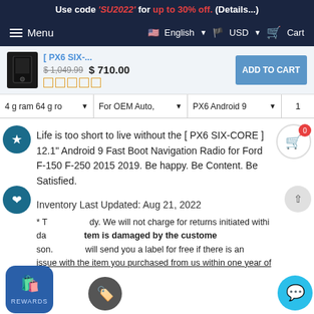Use code 'SU2022' for up to 30% off. (Details...)
Menu   English   USD   Cart
[ PX6 SIX-...   $1,049.99  $710.00   ADD TO CART
4 gram 64 gro   For OEM Auto,   PX6 Android 9   1
Life is too short to live without the [ PX6 SIX-CORE ] 12.1" Android 9 Fast Boot Navigation Radio for Ford F-150 F-250 2015 2019. Be happy. Be Content. Be Satisfied.
Inventory Last Updated: Aug 21, 2022
* T    dy. We will not charge for returns initiated withi    da    WARDS    tem is damaged by the custome    son.    will send you a label for free if there is an issue with the item you purchased from us within one year of